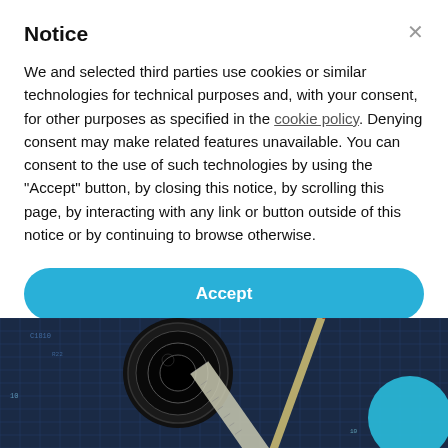Notice
We and selected third parties use cookies or similar technologies for technical purposes and, with your consent, for other purposes as specified in the cookie policy. Denying consent may make related features unavailable. You can consent to the use of such technologies by using the "Accept" button, by closing this notice, by scrolling this page, by interacting with any link or button outside of this notice or by continuing to browse otherwise.
Accept
Learn more and customise
[Figure (photo): Engineering/technical photo showing a camera lens, ruler, and circuit board on a dark grid surface with a cyan circle overlay in the bottom right]